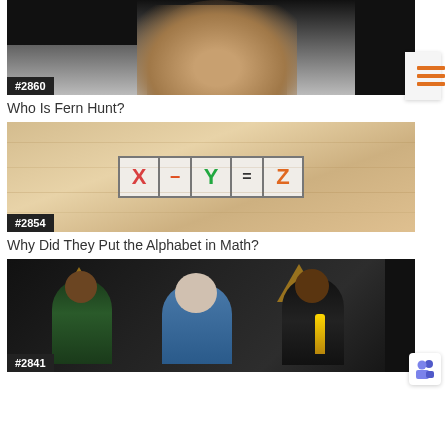[Figure (photo): Top portion of a person's face (smiling, dark skin) with dark background at top, cropped at top of page]
#2860
Who Is Fern Hunt?
[Figure (photo): Wooden tiles spelling X - Y = Z on a wooden surface background, each letter/symbol on a separate tile]
#2854
Why Did They Put the Alphabet in Math?
[Figure (photo): Three people at an awards ceremony with Oscar statuettes, triangular Oscar logos visible in background, one person in wheelchair]
#2841